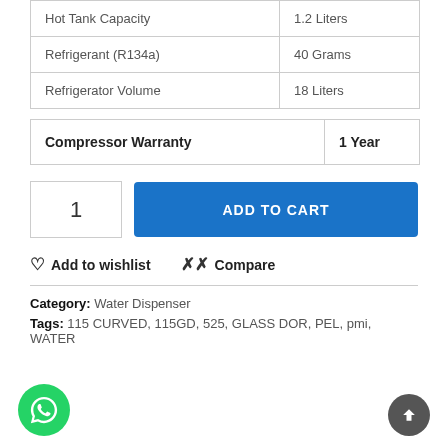| Hot Tank Capacity | 1.2 Liters |
| Refrigerant (R134a) | 40 Grams |
| Refrigerator Volume | 18 Liters |
| Compressor Warranty | 1 Year |
1
ADD TO CART
Add to wishlist
Compare
Category: Water Dispenser
Tags: 115 CURVED, 115GD, 525, GLASS DOR, PEL, pmi, WATER